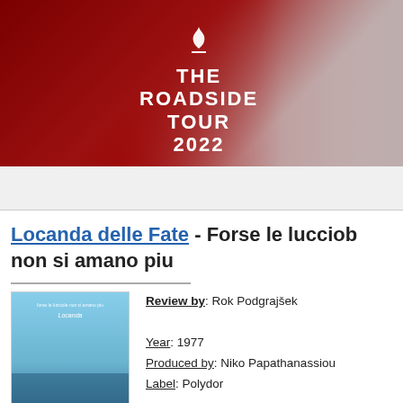[Figure (illustration): The Roadside Tour 2022 banner with flame logo, bold white text on dark red background, with a person's face partially visible on the right side in black and white]
Locanda delle Fate - Forse le lucciole non si amano piu
[Figure (illustration): Album cover art showing a golden tree against a blue sky/ocean background]
Review by: Rok Podgrajšek
Year: 1977
Produced by: Niko Papathanassiou
Label: Polydor